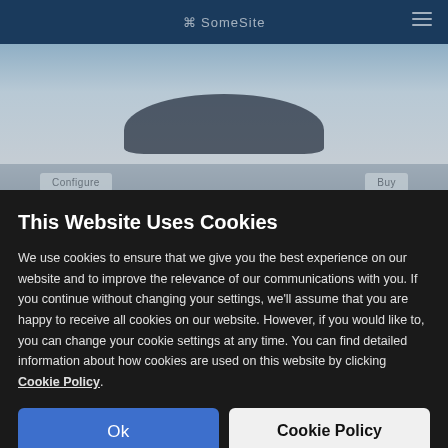[Figure (screenshot): Blurred website background showing a dark blue navigation bar and a blurred car image with gray background elements]
This Website Uses Cookies
We use cookies to ensure that we give you the best experience on our website and to improve the relevance of our communications with you. If you continue without changing your settings, we'll assume that you are happy to receive all cookies on our website. However, if you would like to, you can change your cookie settings at any time. You can find detailed information about how cookies are used on this website by clicking Cookie Policy.
Ok
Cookie Policy